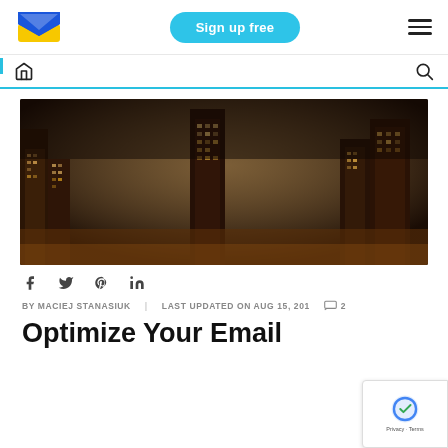Sign up free | [logo] | [menu]
[Figure (logo): Sendinblue email marketing logo - blue and yellow envelope icon]
[Figure (photo): Aerial night view of New York City skyscrapers with warm lighting, dark atmospheric photo]
f  𝕋  𝕡  in
BY MACIEJ STANASIUK   LAST UPDATED ON AUG 15, 201   💬 2
Optimize Your Email